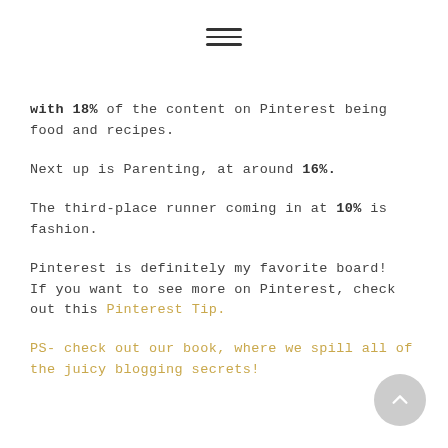[Figure (other): Hamburger menu icon (three horizontal lines)]
with 18% of the content on Pinterest being food and recipes.
Next up is Parenting, at around 16%.
The third-place runner coming in at 10% is fashion.
Pinterest is definitely my favorite board!  If you want to see more on Pinterest, check out this Pinterest Tip.
PS- check out our book, where we spill all of the juicy blogging secrets!